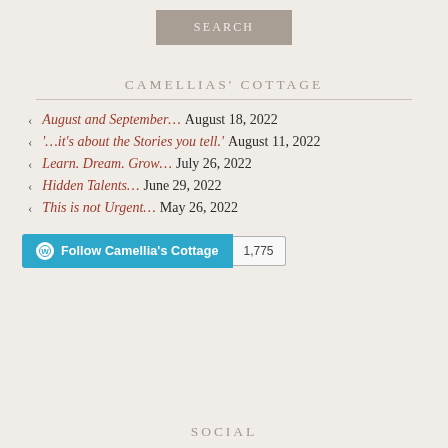[Figure (other): Search button — grey box with letter-spaced text SEARCH in white/light color]
CAMELLIAS' COTTAGE
August and September… August 18, 2022
'…it's about the Stories you tell.' August 11, 2022
Learn. Dream. Grow… July 26, 2022
Hidden Talents… June 29, 2022
This is not Urgent… May 26, 2022
[Figure (other): WordPress Follow button reading 'Follow Camellia's Cottage' in cyan/teal, followed by follower count badge showing 1,775]
SOCIAL